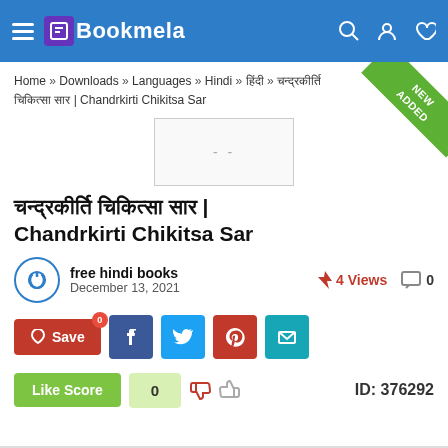Bookmela
Home » Downloads » Languages » Hindi » हिंदी » चन्द्रकीर्ति चिकित्सा सार | Chandrkirti Chikitsa Sar
[Figure (other): Book cover placeholder image with dashes]
चन्द्रकीर्ति चिकित्सा सार | Chandrkirti Chikitsa Sar
free hindi books
December 13, 2021
4 Views
0
Save  Facebook  Twitter  Pinterest  Email
Like Score  0  ID: 376292